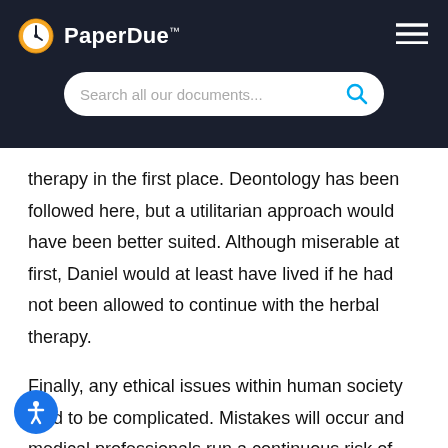PaperDue™
therapy in the first place. Deontology has been followed here, but a utilitarian approach would have been better suited. Although miserable at first, Daniel would at least have lived if he had not been allowed to continue with the herbal therapy.
Finally, any ethical issues within human society tend to be complicated. Mistakes will occur and medical professionals run a continuous risk of